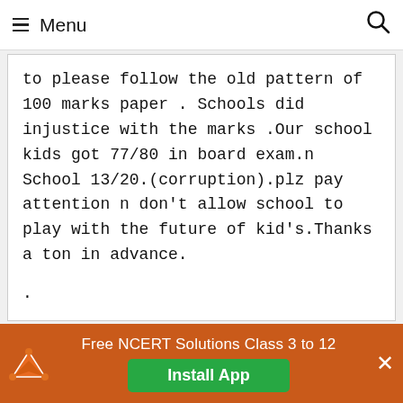Menu
to please follow the old pattern of 100 marks paper . Schools did injustice with the marks .Our school kids got 77/80 in board exam.n School 13/20.(corruption).plz pay attention n don’t allow school to play with the future of kid’s.Thanks a ton in advance.
.
Usha
Free NCERT Solutions Class 3 to 12
Install App